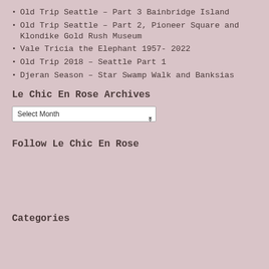Old Trip Seattle – Part 3 Bainbridge Island
Old Trip Seattle – Part 2, Pioneer Square and Klondike Gold Rush Museum
Vale Tricia the Elephant 1957- 2022
Old Trip 2018 – Seattle Part 1
Djeran Season – Star Swamp Walk and Banksias
Le Chic En Rose Archives
Select Month
Follow Le Chic En Rose
Categories